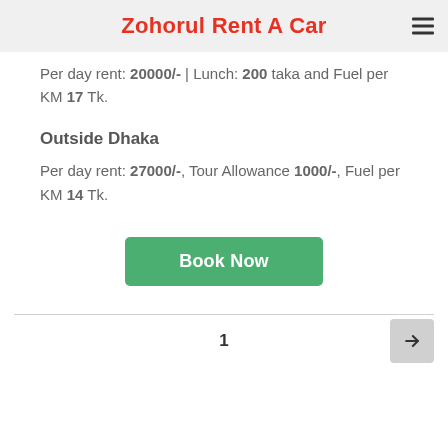Zohorul Rent A Car
Per day rent: 20000/- | Lunch: 200 taka and Fuel per KM 17 Tk.
Outside Dhaka
Per day rent: 27000/-, Tour Allowance 1000/-, Fuel per KM 14 Tk.
[Figure (other): Book Now button (green)]
1